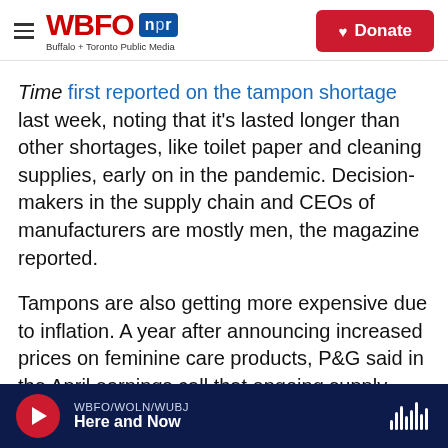WBFO npr Buffalo + Toronto Public Media | Donate
Time first reported on the tampon shortage last week, noting that it's lasted longer than other shortages, like toilet paper and cleaning supplies, early on in the pandemic. Decision-makers in the supply chain and CEOs of manufacturers are mostly men, the magazine reported.
Tampons are also getting more expensive due to inflation. A year after announcing increased prices on feminine care products, P&G said in the April earnings call that ongoing supply chain constraints led to another price hike on the products, which will
WBFO/WOLN/WUBJ Here and Now